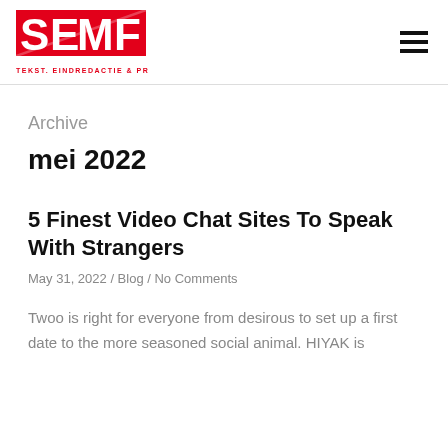SEMF — TEKST. EINDREDACTIE & PR
Archive
mei 2022
5 Finest Video Chat Sites To Speak With Strangers
May 31, 2022 / Blog / No Comments
Twoo is right for everyone from desirous to set up a first date to the more seasoned social animal. HIYAK is